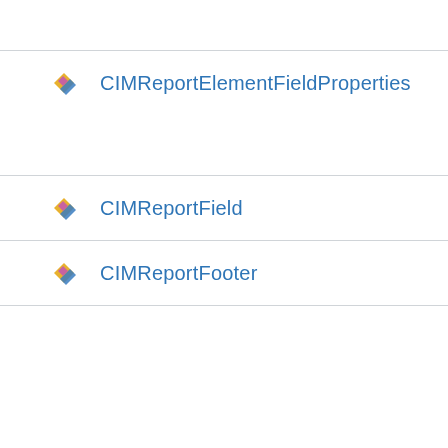CIMReportElementFieldProperties
CIMReportField
CIMReportFooter